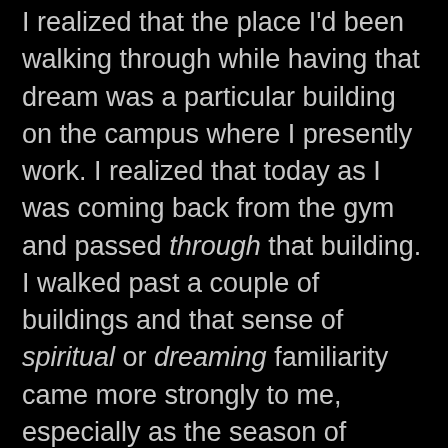I realized that the place I'd been walking through while having that dream was a particular building on the campus where I presently work. I realized that today as I was coming back from the gym and passed through that building. I walked past a couple of buildings and that sense of spiritual or dreaming familiarity came more strongly to me, especially as the season of spring erupts forth locally. I like to sit outside here in some places and just, well, watch and see and feel the wind and trees and shit like that.
You see, in this part of Texas, if you pay